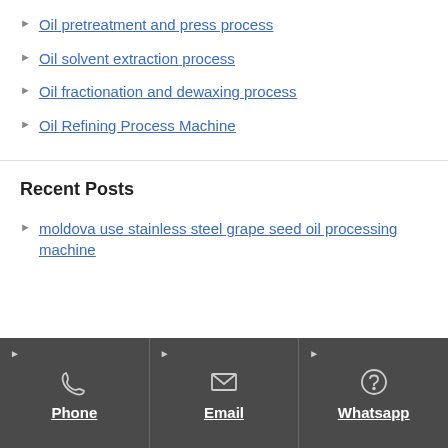Oil pretreatment and press process
Oil solvent extraction process
Oil fractionation and dewaxing process
Oil Refining Process Machine
Recent Posts
moldova use stainless steel grape seed oil processing machine
Phone   Email   Whatsapp